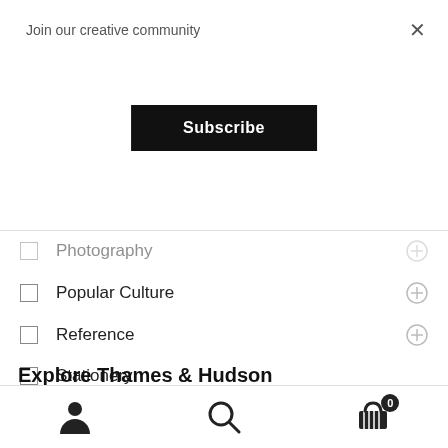Join our creative community
Subscribe
Photography
Popular Culture
Reference
Stationery
Uncategorized
Explore Thames & Hudson
About Us